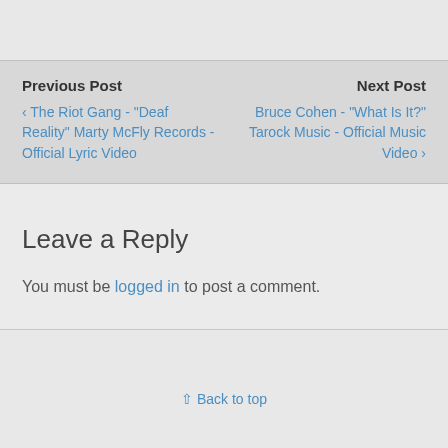Previous Post
‹ The Riot Gang - "Deaf Reality" Marty McFly Records - Official Lyric Video
Next Post
Bruce Cohen - "What Is It?" Tarock Music - Official Music Video ›
Leave a Reply
You must be logged in to post a comment.
⇧ Back to top